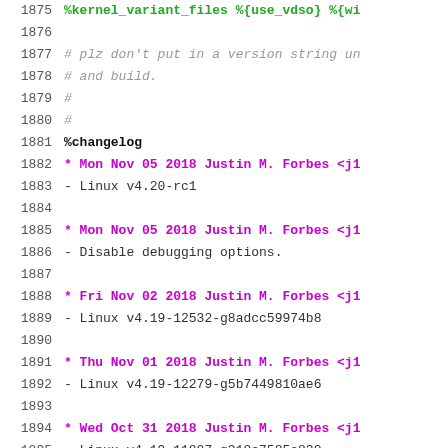1875  %kernel_variant_files %{use_vdso} %{wi
1876
1877  # plz don't put in a version string un
1878  # and build.
1879  #
1880  #
1881  %changelog
1882  * Mon Nov 05 2018 Justin M. Forbes <j1
1883  - Linux v4.20-rc1
1884
1885  * Mon Nov 05 2018 Justin M. Forbes <j1
1886  - Disable debugging options.
1887
1888  * Fri Nov 02 2018 Justin M. Forbes <j1
1889  - Linux v4.19-12532-g8adcc59974b8
1890
1891  * Thu Nov 01 2018 Justin M. Forbes <j1
1892  - Linux v4.19-12279-g5b7449810ae6
1893
1894  * Wed Oct 31 2018 Justin M. Forbes <j1
1895  - Linux v4.19-11807-g310c7585e830
1896
1897  * Tue Oct 30 2018 Justin M. Forbes <j1
1898  - Linux v4.19-11706-g11743c56785c